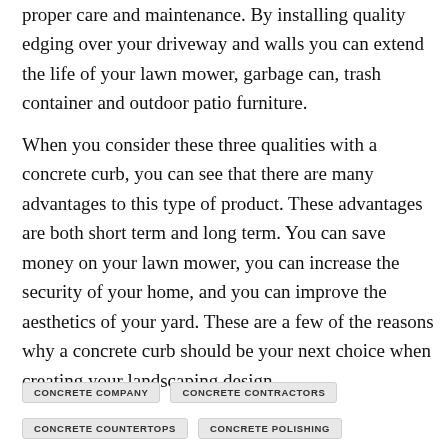proper care and maintenance. By installing quality edging over your driveway and walls you can extend the life of your lawn mower, garbage can, trash container and outdoor patio furniture.
When you consider these three qualities with a concrete curb, you can see that there are many advantages to this type of product. These advantages are both short term and long term. You can save money on your lawn mower, you can increase the security of your home, and you can improve the aesthetics of your yard. These are a few of the reasons why a concrete curb should be your next choice when creating your landscaping design.
CONCRETE COMPANY
CONCRETE CONTRACTORS
CONCRETE COUNTERTOPS
CONCRETE POLISHING